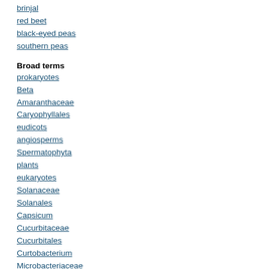brinjal
red beet
black-eyed peas
southern peas
Broad terms
prokaryotes
Beta
Amaranthaceae
Caryophyllales
eudicots
angiosperms
Spermatophyta
plants
eukaryotes
Solanaceae
Solanales
Capsicum
Cucurbitaceae
Cucurbitales
Curtobacterium
Microbacteriaceae
Micrococcineae
Actinomycetales
Actinobacteridae